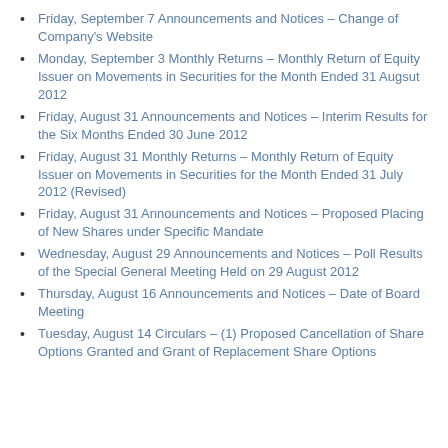Friday, September 7 Announcements and Notices – Change of Company's Website
Monday, September 3 Monthly Returns – Monthly Return of Equity Issuer on Movements in Securities for the Month Ended 31 Augsut 2012
Friday, August 31 Announcements and Notices – Interim Results for the Six Months Ended 30 June 2012
Friday, August 31 Monthly Returns – Monthly Return of Equity Issuer on Movements in Securities for the Month Ended 31 July 2012 (Revised)
Friday, August 31 Announcements and Notices – Proposed Placing of New Shares under Specific Mandate
Wednesday, August 29 Announcements and Notices – Poll Results of the Special General Meeting Held on 29 August 2012
Thursday, August 16 Announcements and Notices – Date of Board Meeting
Tuesday, August 14 Circulars – (1) Proposed Cancellation of Share Options Granted and Grant of Replacement Share Options